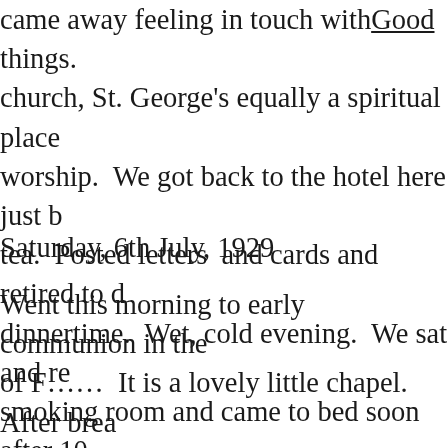came away feeling in touch with Good things. church, St. George's equally a spiritual place worship. We got back to the hotel here just be tea. Posted letters and cards and retired to d dinnertime. Wet, cold evening. We sat and re smoking room and came to bed soon after 10
Saturday, 6th July, 1929
Went this morning to early communion in the of F…… It is a lovely little chapel. After brea and collected our belongings and went to Bud the sands. Ate our lunch and sat with our feet was lovely. Started home soon after 3. Stopp and got back here about 5. I had a hot bath th was time to tidy for dinner. After dinner we we the cliff beyond that awful King Arthur's Hotel. evening, grey and a bit misty at sea but the ai we sat quite a long time without feeling the le 10 and came up to bed. I started a letter to th